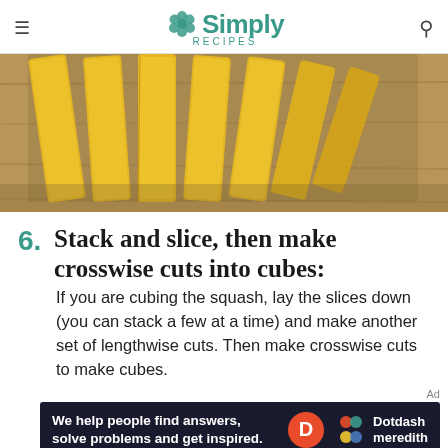Simply Recipes
[Figure (photo): Close-up photo of sliced yellow butternut squash pieces fanned out on a wooden cutting board, showing multiple long rectangular slices.]
6. Stack and slice, then make crosswise cuts into cubes: If you are cubing the squash, lay the slices down (you can stack a few at a time) and make another set of lengthwise cuts. Then make crosswise cuts to make cubes.
[Figure (infographic): Dotdash Meredith advertisement banner: 'We help people find answers, solve problems and get inspired.' with Dotdash Meredith logo.]